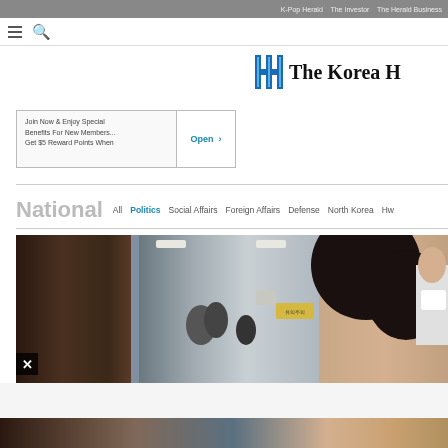K-Pop Herald   The Investor   The Herald Business
[Figure (screenshot): Navigation bar with hamburger menu and search icon]
[Figure (logo): The Korea Herald logo with stylized H icon]
[Figure (screenshot): Advertisement banner: Join Now & Enjoy Special Benefits For New Members... Get $5 Reward Points When — Open button]
National   All   Politics   Social Affairs   Foreign Affairs   Defense   North Korea   Hw...
[Figure (photo): Photo of people in a hallway or corridor, appears to be a crowded indoor scene with a person with dark hair visible]
[Figure (photo): Partial bottom image strip]